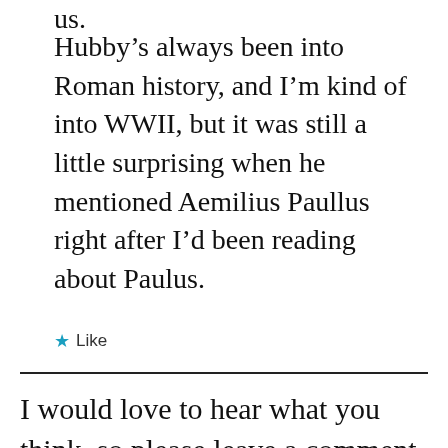us.
Hubby’s always been into Roman history, and I’m kind of into WWII, but it was still a little surprising when he mentioned Aemilius Paullus right after I’d been reading about Paulus.
★ Like
I would love to hear what you think, so please leave a comment below. If this is your first time posting, your remarks will appear